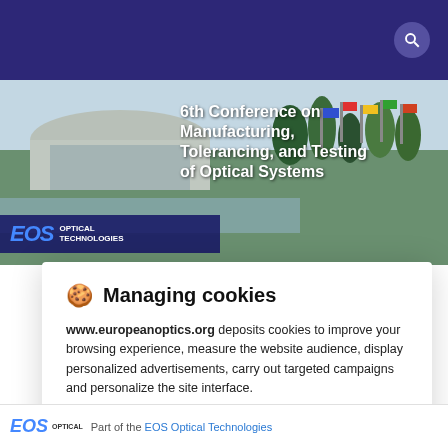[Figure (screenshot): EOS Optical Technologies website screenshot showing 6th Conference on Manufacturing, Tolerancing, and Testing of Optical Systems banner with building and flags in background, EOS logo overlay]
Managing cookies
www.europeanoptics.org deposits cookies to improve your browsing experience, measure the website audience, display personalized advertisements, carry out targeted campaigns and personalize the site interface.
Consult the privacy policy
REFUSE  SETTINGS  ACCEPT
Part of the EOS Optical Technologies